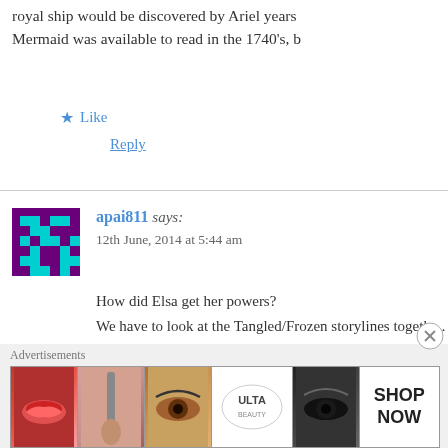royal ship would be discovered by Ariel years... Mermaid was available to read in the 1740's, b...
★ Like
Reply
apai811 says:
12th June, 2014 at 5:44 am
How did Elsa get her powers?
We have to look at the Tangled/Frozen storylines togeth... to this
1. Why is Elsa born with the special powers
2. How does the king know where to go when Elsa stri...
3. Who are the King/Troll in the King's book – it seem...
[Figure (screenshot): Ulta beauty advertisement strip with makeup images and SHOP NOW text]